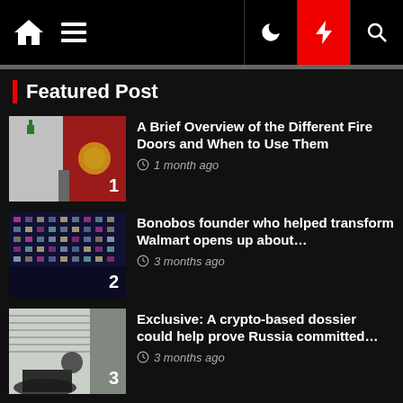Navigation bar with home, menu, dark mode, flash, and search icons
Featured Post
A Brief Overview of the Different Fire Doors and When to Use Them — 1 month ago
Bonobos founder who helped transform Walmart opens up about… — 3 months ago
Exclusive: A crypto-based dossier could help prove Russia committed… — 3 months ago
Openings and Closings: Business happenings around the region |… — 3 months ago